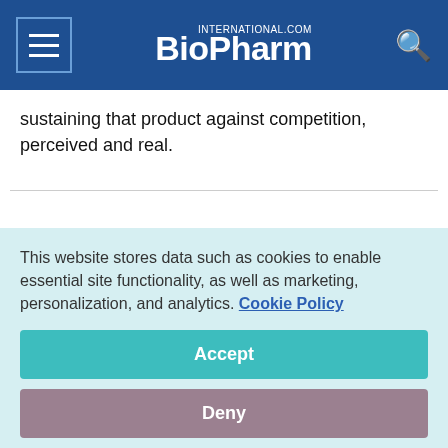BioPharm International
sustaining that product against competition, perceived and real.
[Figure (photo): Partial photo of a person, possibly an athlete, with colorful teal and red background.]
This website stores data such as cookies to enable essential site functionality, as well as marketing, personalization, and analytics. Cookie Policy
Accept
Deny